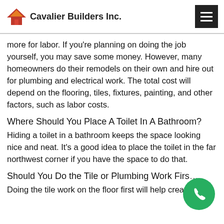Cavalier Builders Inc.
more for labor. If you're planning on doing the job yourself, you may save some money. However, many homeowners do their remodels on their own and hire out for plumbing and electrical work. The total cost will depend on the flooring, tiles, fixtures, painting, and other factors, such as labor costs.
Where Should You Place A Toilet In A Bathroom?
Hiding a toilet in a bathroom keeps the space looking nice and neat. It's a good idea to place the toilet in the far northwest corner if you have the space to do that.
Should You Do the Tile or Plumbing Work Firs…
Doing the tile work on the floor first will help create a…